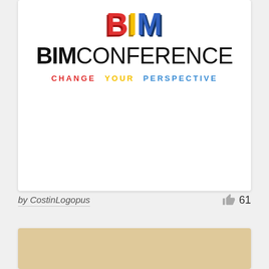[Figure (logo): BIM Conference logo with 3D colored letters B (red), I (yellow), M (blue) above the text BIMCONFERENCE in bold black, and the tagline CHANGE YOUR PERSPECTIVE in red, yellow, and blue lettering]
by CostinLogopus  👍 61
[Figure (illustration): Tan/beige colored rectangular card, partially visible at the bottom of the page]